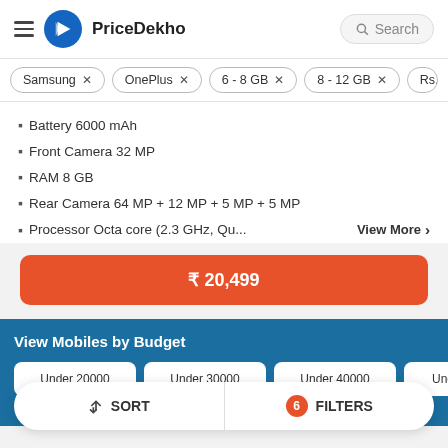PriceDekho
Samsung ×
OnePlus ×
6 - 8 GB ×
8 - 12 GB ×
Rs. 12,00...
Battery 6000 mAh
Front Camera 32 MP
RAM 8 GB
Rear Camera 64 MP + 12 MP + 5 MP + 5 MP
Processor Octa core (2.3 GHz, Qu...
₹ 20,499
View Mobiles by Budget
Under 20000
Under 30000
Under 40000
Under 5000
SORT   6 FILTERS